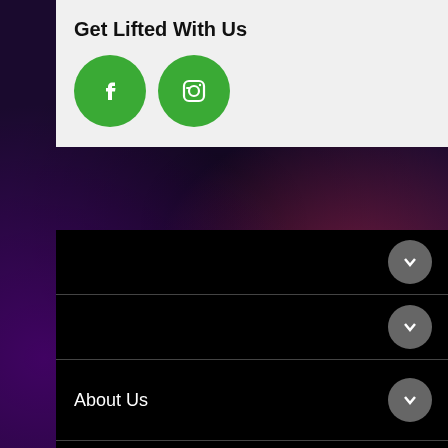Get Lifted With Us
[Figure (illustration): Two green circular social media icons: Facebook (f) and Instagram (camera) side by side]
About Us
Customer Service
Site Map | Search Terms | Advanced Search | Orders and Returns | Contact Us
© 2014 Lifted Designs. All Rights Reserved.